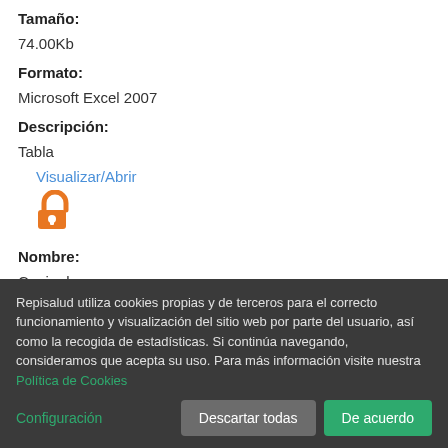Tamaño:
74.00Kb
Formato:
Microsoft Excel 2007
Descripción:
Tabla
Visualizar/Abrir
[Figure (other): Open access orange padlock icon]
Nombre:
Copia de 41467_2020_20138_MOES ...
Tamaño:
Repisalud utiliza cookies propias y de terceros para el correcto funcionamiento y visualización del sitio web por parte del usuario, así como la recogida de estadísticas. Si continúa navegando, consideramos que acepta su uso. Para más información visite nuestra Política de Cookies
Configuración
Descartar todas
De acuerdo